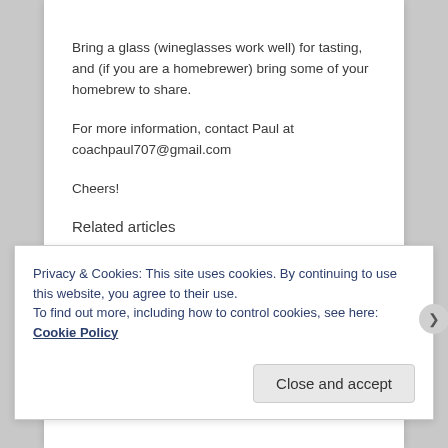Bring a glass (wineglasses work well) for tasting, and (if you are a homebrewer) bring some of your homebrew to share.
For more information, contact Paul at coachpaul707@gmail.com
Cheers!
Related articles
Privacy & Cookies: This site uses cookies. By continuing to use this website, you agree to their use.
To find out more, including how to control cookies, see here: Cookie Policy